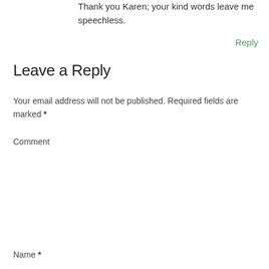Thank you Karen; your kind words leave me speechless.
Reply
Leave a Reply
Your email address will not be published. Required fields are marked *
Comment
Name *